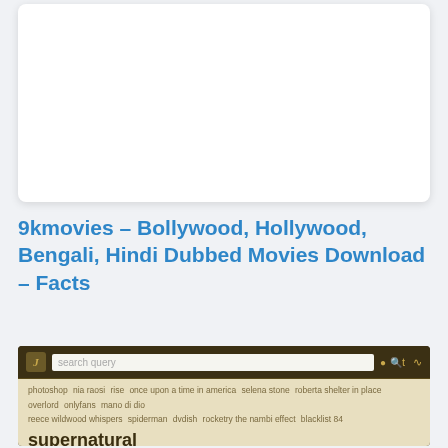[Figure (screenshot): White rectangular box, likely an advertisement or placeholder image area]
9kmovies – Bollywood, Hollywood, Bengali, Hindi Dubbed Movies Download – Facts
[Figure (screenshot): Screenshot of a website interface with dark olive/brown header showing a search bar with the letter J logo, search query input field, and a tag cloud below on a beige background. Tags include: photoshop, nia raosi, rise, once upon a time in america, selena stone, roberta shelter in place, overlord, onlyfans, mano di dio, reece wildwood whispers, spiderman, dvdish, rocketry the nambi effect, blacklist 84, supernatural, riley drug warrior, rita ora, roland, odd man out, jug jug jeeyo, pacman, rocketry, outlaws, westworld, dora the explorer season, braveheart, sketchup crack, lynda, avast, hindi movies, topaz, dr antra, rimmer before i let you go, carnival, obi-wan, besta nanga, jurassic world dominion, better call saul, indiana jones, narcos decoded, rings, &quot;dillion carter&quot;]